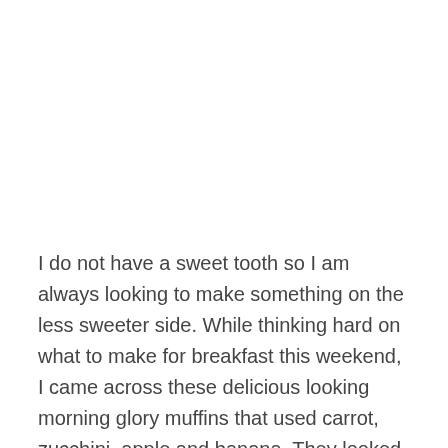I do not have a sweet tooth so I am always looking to make something on the less sweeter side. While thinking hard on what to make for breakfast this weekend, I came across these delicious looking morning glory muffins that used carrot, zucchini, apple and banana. They looked delicious but I do not like…